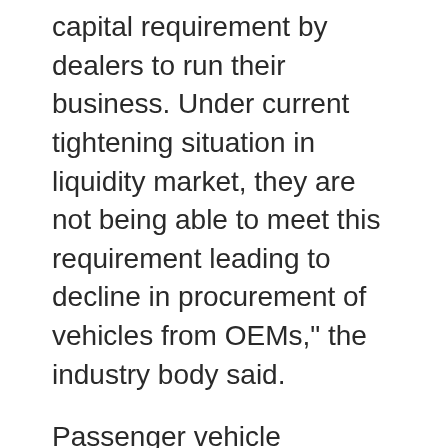capital requirement by dealers to run their business. Under current tightening situation in liquidity market, they are not being able to meet this requirement leading to decline in procurement of vehicles from OEMs," the industry body said.
Passenger vehicle wholesales in India witnessed the steepest decline in nearly 18 years, dropping by over 20 per cent in May, as continued weakness in retail offtake forced manufacturers to cut production in order to adjust to market demand.
Vehicle sales across categories registered a